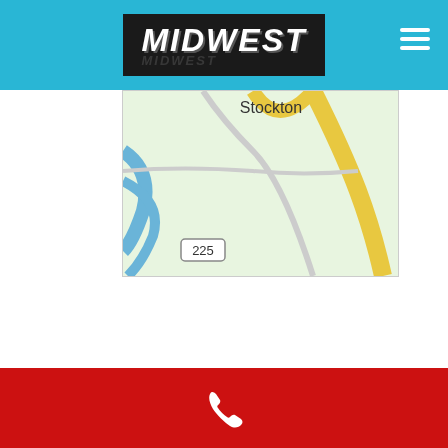MIDWEST
[Figure (map): Street map showing Stockton area with roads including route 225 and route 23, yellow highlighted road running through center]
Need a Stockton plumber? Schedule an appointment today
[Figure (other): Red bar with white phone icon at bottom]